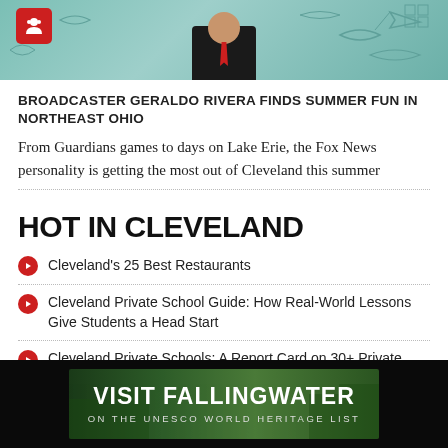[Figure (photo): Photo of broadcaster Geraldo Rivera in a suit against a teal decorative background with fish illustrations and a red icon in upper left]
BROADCASTER GERALDO RIVERA FINDS SUMMER FUN IN NORTHEAST OHIO
From Guardians games to days on Lake Erie, the Fox News personality is getting the most out of Cleveland this summer
HOT IN CLEVELAND
Cleveland's 25 Best Restaurants
Cleveland Private School Guide: How Real-World Lessons Give Students a Head Start
Cleveland Private Schools: A Report Card on 30+ Private High Schools
[Figure (illustration): Advertisement banner: VISIT FALLINGWATER ON THE UNESCO WORLD HERITAGE LIST, dark green forest background]